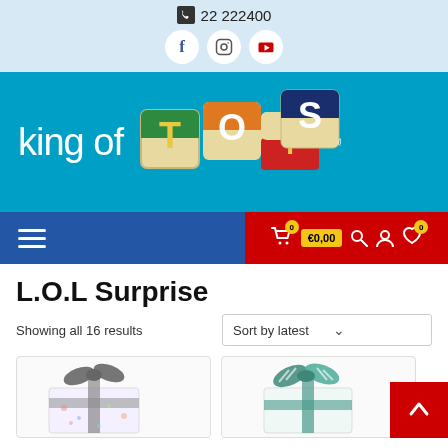22 222400
[Figure (logo): King of Toys logo with colorful wooden letter blocks spelling TOYS on a teal/blue background]
[Figure (screenshot): Navigation bar with hamburger menu on dark blue left, and cart icon showing 0 items / €0,00, search, account, wishlist icons on red right]
L.O.L Surprise
Showing all 16 results
Sort by latest
[Figure (photo): Gift wrapped box with black and white chevron ribbon bow on white patterned wrapping paper]
[Figure (photo): Gift wrapped box with teal and white striped ribbon bow]